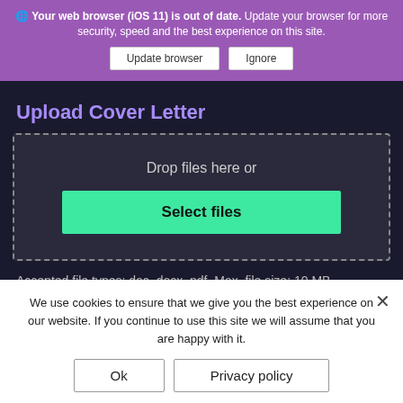[Figure (screenshot): Browser update notification banner with purple background showing 'Your web browser (iOS 11) is out of date. Update your browser for more security, speed and the best experience on this site.' with 'Update browser' and 'Ignore' buttons.]
Upload Cover Letter
[Figure (screenshot): File upload dropzone with dashed border containing 'Drop files here or' text and a green 'Select files' button.]
Accepted file types: doc, docx, pdf, Max. file size: 10 MB.
Maximum size 10MB
Cover Letter
[Figure (screenshot): Cookie consent banner with white background: 'We use cookies to ensure that we give you the best experience on our website. If you continue to use this site we will assume that you are happy with it.' with 'Ok' and 'Privacy policy' buttons and an X close button.]